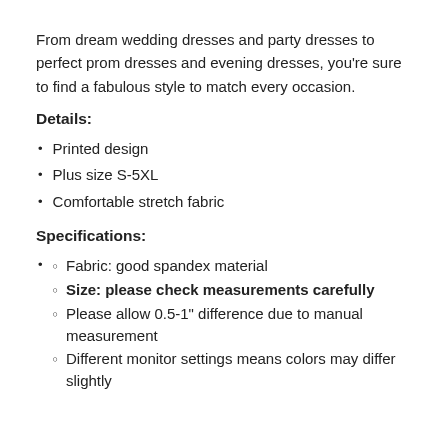From dream wedding dresses and party dresses to perfect prom dresses and evening dresses, you're sure to find a fabulous style to match every occasion.
Details:
Printed design
Plus size S-5XL
Comfortable stretch fabric
Specifications:
Fabric: good spandex material
Size: please check measurements carefully
Please allow 0.5-1" difference due to manual measurement
Different monitor settings means colors may differ slightly